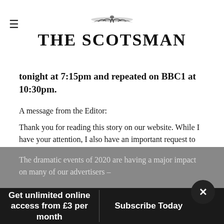THE SCOTSMAN
tonight at 7:15pm and repeated on BBC1 at 10:30pm.
A message from the Editor:
Thank you for reading this story on our website. While I have your attention, I also have an important request to make of you.
The dramatic events of 2020 are having a major impact on many of our advertisers –
Get unlimited online access from £3 per month
Subscribe Today